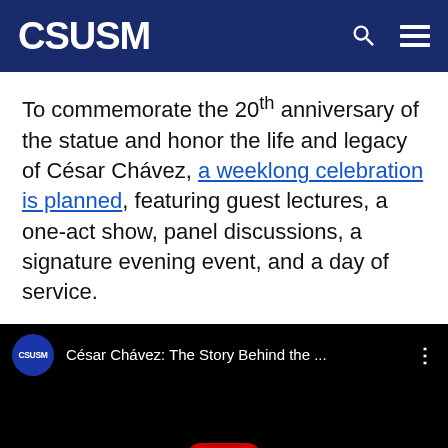CSUSM
To commemorate the 20th anniversary of the statue and honor the life and legacy of César Chávez, a weeklong celebration is planned, featuring guest lectures, a one-act show, panel discussions, a signature evening event, and a day of service.
[Figure (screenshot): Embedded YouTube video player showing 'César Chávez: The Story Behind the ...' with CSUSM logo badge, video title bar, and YouTube play button on black background.]